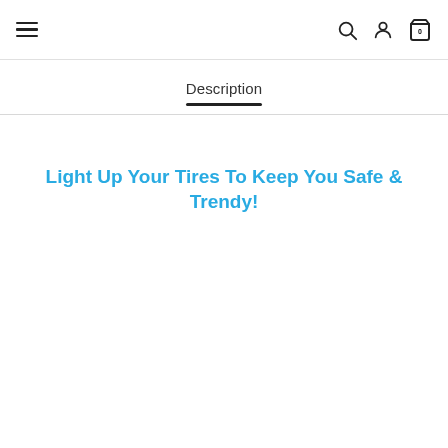Navigation header with hamburger menu, search, user, and cart icons
Description
Light Up Your Tires To Keep You Safe & Trendy!